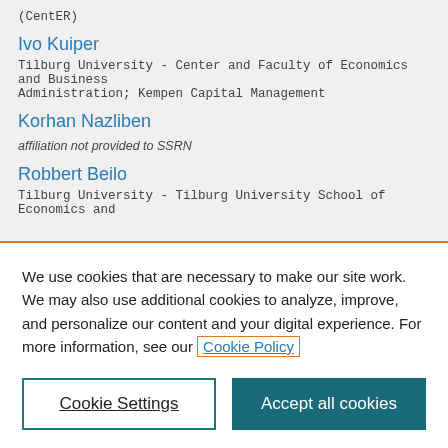(CentER)
Ivo Kuiper
Tilburg University - Center and Faculty of Economics and Business Administration; Kempen Capital Management
Korhan Nazliben
affiliation not provided to SSRN
Robbert Beilo
Tilburg University - Tilburg University School of Economics and
We use cookies that are necessary to make our site work. We may also use additional cookies to analyze, improve, and personalize our content and your digital experience. For more information, see our Cookie Policy
Cookie Settings
Accept all cookies